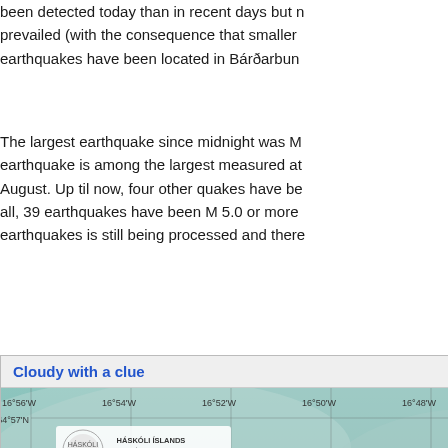been detected today than in recent days but prevailed (with the consequence that smaller earthquakes have been located in Bárðarbun...
The largest earthquake since midnight was M... earthquake is among the largest measured at August. Up til now, four other quakes have be... all, 39 earthquakes have been M 5.0 or more earthquakes is still being processed and there...
Cloudy with a clue
[Figure (map): Satellite/aerial map image showing Holuhraun lava field with volcanic activity (glowing red lava visible), white outline contour of lava field, teal/grey background terrain. Contains Icelandic text annotations: 'Holuhraun 29.9.2014 12:33 GMT', 'Hraun 26.9.: Eldfjallafræði og náttúruvarðöpur JHÍ', 'Bakgrunnur: LANDSAT 8 mynd frá NASA & USGS', 'Jarðvísindastofnun Háskólans'. Grid coordinates shown: longitude 16°56W to 16°44W, latitude 64°52N to 64°57N. Háskóli Íslands logo visible.]